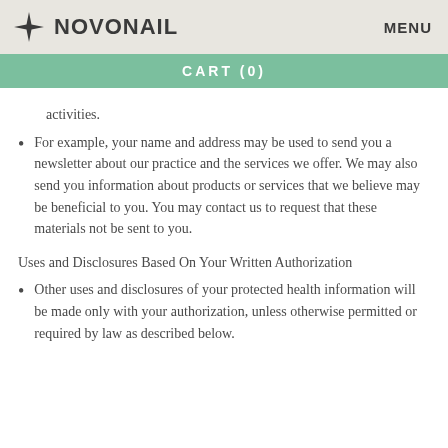NOVONAIL  MENU
CART (0)
activities.
For example, your name and address may be used to send you a newsletter about our practice and the services we offer. We may also send you information about products or services that we believe may be beneficial to you. You may contact us to request that these materials not be sent to you.
Uses and Disclosures Based On Your Written Authorization
Other uses and disclosures of your protected health information will be made only with your authorization, unless otherwise permitted or required by law as described below.